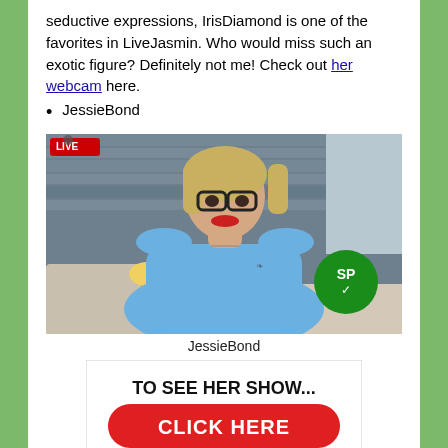seductive expressions, IrisDiamond is one of the favorites in LiveJasmin. Who would miss such an exotic figure? Definitely not me! Check out her webcam here.
JessieBond
[Figure (photo): Webcam screenshot of JessieBond, a woman with glasses and red lips wearing a blue off-shoulder top, with a green SP button overlay]
JessieBond
[Figure (infographic): Call-to-action banner reading 'TO SEE HER SHOW... CLICK HERE' with a red button and cursor icon]